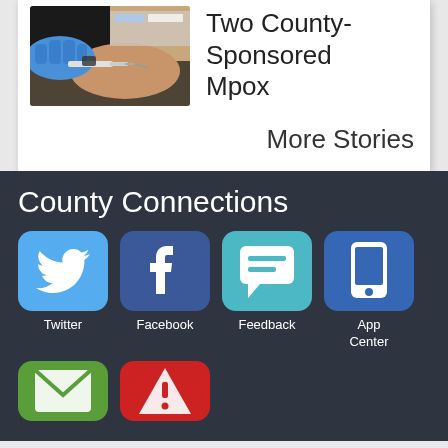[Figure (photo): Person receiving an injection in the arm, wearing blue gloves, medical setting outdoors]
Two County-Sponsored Mpox
More Stories
County Connections
[Figure (logo): Twitter logo icon (blue rounded square with white bird)]
Twitter
[Figure (logo): Facebook logo icon (dark blue rounded square with white f)]
Facebook
[Figure (logo): Feedback icon (teal rounded square with white speech bubble and lines)]
Feedback
[Figure (logo): App Center icon (blue rounded square with white mobile phone)]
App Center
[Figure (logo): Email icon (green rounded square with white envelope)]
[Figure (logo): Alert icon (red rounded square with white warning triangle)]